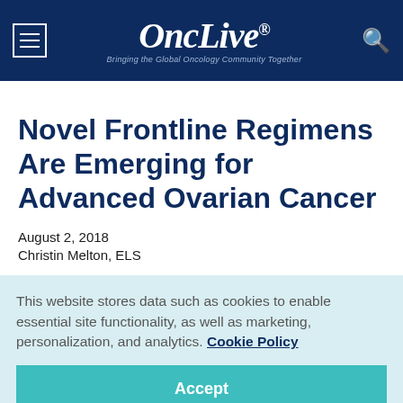OncLive® — Bringing the Global Oncology Community Together
Novel Frontline Regimens Are Emerging for Advanced Ovarian Cancer
August 2, 2018
Christin Melton, ELS
This website stores data such as cookies to enable essential site functionality, as well as marketing, personalization, and analytics. Cookie Policy
Accept
Deny